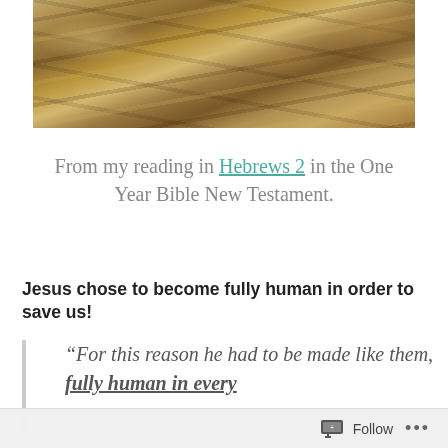[Figure (photo): Aerial or close-up photograph of desert sand dunes with layered ridges in sandy brown and tan tones]
From my reading in Hebrews 2 in the One Year Bible New Testament.
Jesus chose to become fully human in order to save us!
“For this reason he had to be made like them, fully human in every
Follow ...